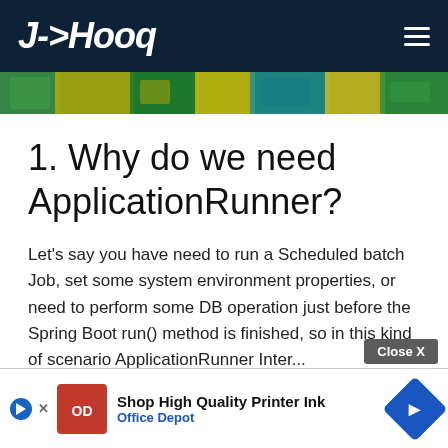J->Hooq
[Figure (photo): Colorful banner image strip with green, yellow, and teal colors]
1. Why do we need ApplicationRunner?
Let's say you have need to run a Scheduled batch Job, set some system environment properties, or need to perform some DB operation just before the Spring Boot run() method is finished, so in this kind of scenario ApplicationRunner Inter... comes... ons befo... its
[Figure (infographic): Advertisement overlay: Shop High Quality Printer Ink - Office Depot, with close button and navigation icon]